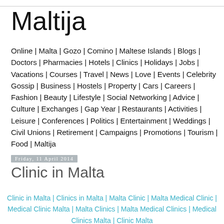Maltija
Online | Malta | Gozo | Comino | Maltese Islands | Blogs | Doctors | Pharmacies | Hotels | Clinics | Holidays | Jobs | Vacations | Courses | Travel | News | Love | Events | Celebrity Gossip | Business | Hostels | Property | Cars | Careers | Fashion | Beauty | Lifestyle | Social Networking | Advice | Culture | Exchanges | Gap Year | Restaurants | Activities | Leisure | Conferences | Politics | Entertainment | Weddings | Civil Unions | Retirement | Campaigns | Promotions | Tourism | Food | Maltija
Friday, 11 April 2014
Clinic in Malta
Clinic in Malta | Clinics in Malta | Malta Clinic | Malta Medical Clinic | Medical Clinic Malta | Malta Clinics | Malta Medical Clinics | Medical Clinics Malta | Clinic Malta